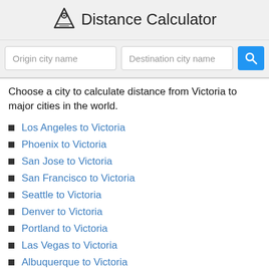Distance Calculator
Choose a city to calculate distance from Victoria to major cities in the world.
Los Angeles to Victoria
Phoenix to Victoria
San Jose to Victoria
San Francisco to Victoria
Seattle to Victoria
Denver to Victoria
Portland to Victoria
Las Vegas to Victoria
Albuquerque to Victoria
Fresno to Victoria
Sacramento to Victoria